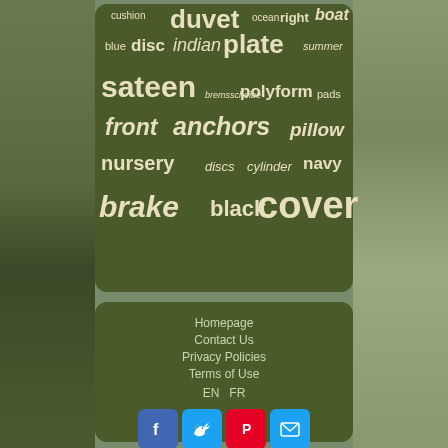[Figure (infographic): Word cloud on dark olive green background with words: duvet, cushion, ocean, right, boat, blue, disc, indian, plate, summer, sateen, bremsscheibe, polyform, pads, front, anchors, pillow, nursery, discs, cylinder, navy, brake, black, cover]
Homepage
Contact Us
Privacy Policies
Terms of Use
EN   FR